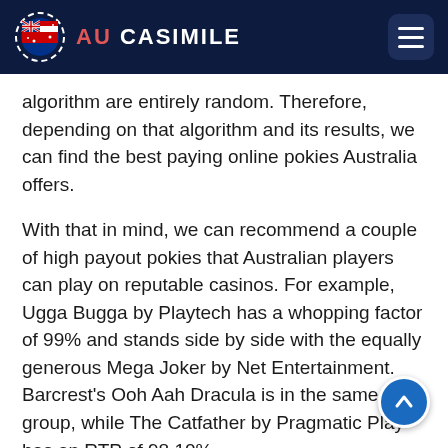AU CASIMILE
algorithm are entirely random. Therefore, depending on that algorithm and its results, we can find the best paying online pokies Australia offers.
With that in mind, we can recommend a couple of high payout pokies that Australian players can play on reputable casinos. For example, Ugga Bugga by Playtech has a whopping factor of 99% and stands side by side with the equally generous Mega Joker by Net Entertainment. Barcrest's Ooh Aah Dracula is in the same group, while The Catfather by Pragmatic Play has an RTP of 98.10%.
Finally, the best payout online pokies Australia titles like Jokerizer by Yggdrasil and Rainbow Riches Pick 'n Mix by